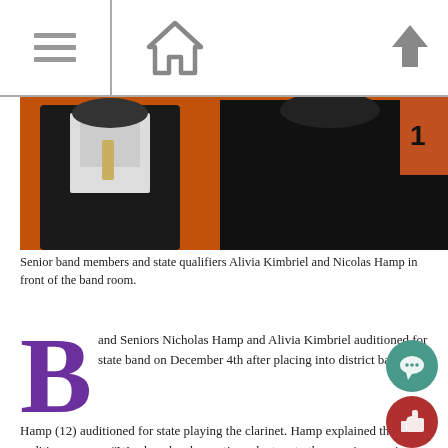Navigation bar with menu, home, and up icons
[Figure (photo): Two senior band members in formal attire standing in front of the band room with an orange background]
Senior band members and state qualifiers Alivia Kimbriel and Nicolas Hamp in front of the band room.
Band Seniors Nicholas Hamp and Alivia Kimbriel auditioned for state band on December 4th after placing into district band.
Hamp (12) auditioned for state playing the clarinet. Hamp explained the audition process, “We played a chromatic scale, two to three major or minor or melodic minor scales, and as many etudes that the judges ask for.”
State and district auditions have many similarities, one of which being that they are blind auditions. This means that the judges face the wall instead of the person who is auditioning. Another similarity is that the auditioner may speak to the room monitor, but may not speak to the judges